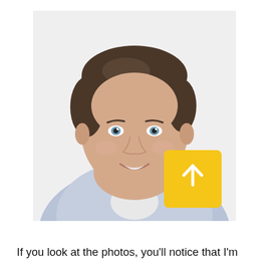[Figure (photo): Headshot of a young man with short brown hair and blue eyes, smiling, wearing a light blue button-up shirt and white undershirt. Background is white/light gray. A yellow square button with a white upward arrow icon is overlaid on the lower-right area of his shirt.]
If you look at the photos, you'll notice that I'm